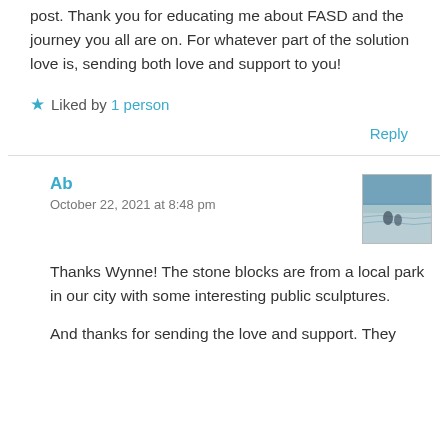post. Thank you for educating me about FASD and the journey you all are on. For whatever part of the solution love is, sending both love and support to you!
★ Liked by 1 person
Reply
Ab
October 22, 2021 at 8:48 pm
Thanks Wynne! The stone blocks are from a local park in our city with some interesting public sculptures.
And thanks for sending the love and support. They